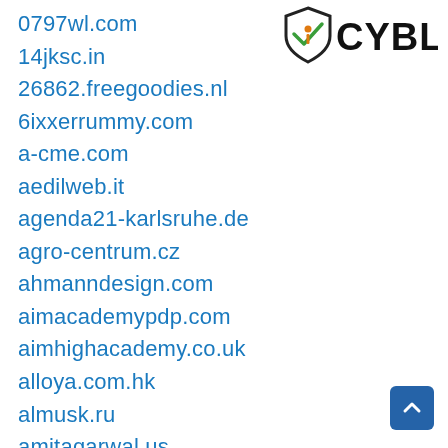[Figure (logo): CYBLE logo — shield shape with checkmark and 'i' icon, bold black text reading CYBLE]
0797wl.com
14jksc.in
26862.freegoodies.nl
6ixxerrummy.com
a-cme.com
aedilweb.it
agenda21-karlsruhe.de
agro-centrum.cz
ahmanndesign.com
aimacademypdp.com
aimhighacademy.co.uk
alloya.com.hk
almusk.ru
amitagarwal.us
animalytix.com
anuntulmagic.ro